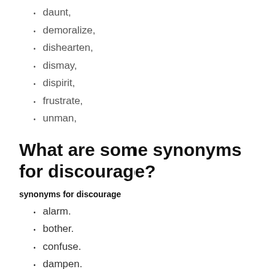daunt,
demoralize,
dishearten,
dismay,
dispirit,
frustrate,
unman,
What are some synonyms for discourage?
synonyms for discourage
alarm.
bother.
confuse.
dampen.
daunt.
demoralize.